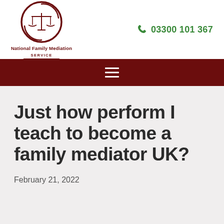[Figure (logo): National Family Mediation Service logo — circular dark red emblem with scales of justice icon and text 'National Family Mediation Service' below]
03300 101 367
[Figure (other): Dark red navigation bar with hamburger menu icon (three horizontal lines)]
Just how perform I teach to become a family mediator UK?
February 21, 2022